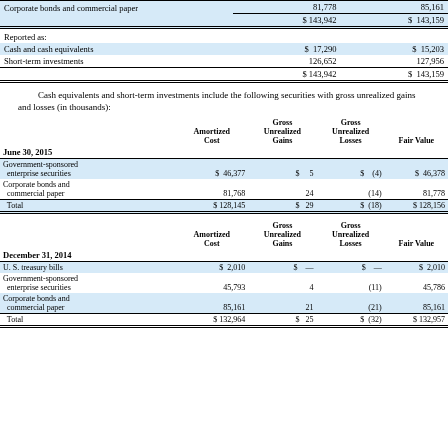|  | Col1 | Col2 |
| --- | --- | --- |
| Corporate bonds and commercial paper | 81,778 | 85,161 |
|  | $ 143,942 | $ 143,159 |
| Reported as: |  |  |
| Cash and cash equivalents | $ 17,290 | $ 15,203 |
| Short-term investments | 126,652 | 127,956 |
|  | $ 143,942 | $ 143,159 |
Cash equivalents and short-term investments include the following securities with gross unrealized gains and losses (in thousands):
| June 30, 2015 | Amortized Cost | Gross Unrealized Gains | Gross Unrealized Losses | Fair Value |
| --- | --- | --- | --- | --- |
| Government-sponsored enterprise securities | $ 46,377 | $ 5 | $ (4) | $ 46,378 |
| Corporate bonds and commercial paper | 81,768 | 24 | (14) | 81,778 |
| Total | $ 128,145 | $ 29 | $ (18) | $ 128,156 |
| December 31, 2014 | Amortized Cost | Gross Unrealized Gains | Gross Unrealized Losses | Fair Value |
| --- | --- | --- | --- | --- |
| U. S. treasury bills | $ 2,010 | $ — | $ — | $ 2,010 |
| Government-sponsored enterprise securities | 45,793 | 4 | (11) | 45,786 |
| Corporate bonds and commercial paper | 85,161 | 21 | (21) | 85,161 |
| Total | $ 132,964 | $ 25 | $ (32) | $ 132,957 |